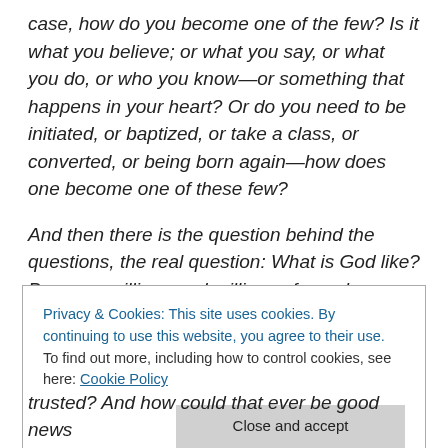case, how do you become one of the few? Is it what you believe; or what you say, or what you do, or who you know—or something that happens in your heart? Or do you need to be initiated, or baptized, or take a class, or converted, or being born again—how does one become one of these few?

And then there is the question behind the questions, the real question: What is God like? Because millions and millions of people were taught that the primary message—the center of the Gospel of Jesus—is that God is going to
Privacy & Cookies: This site uses cookies. By continuing to use this website, you agree to their use.
To find out more, including how to control cookies, see here: Cookie Policy
[Close and accept]
trusted? And how could that ever be good news